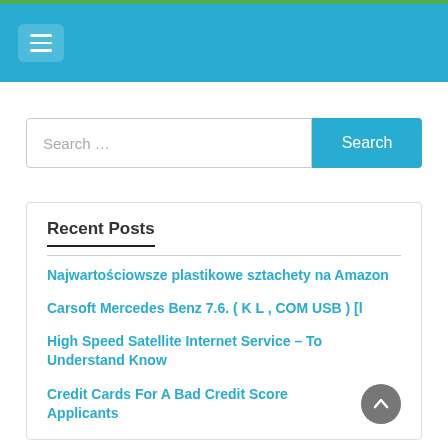Navigation menu header with hamburger icon on blue background
Search …
Recent Posts
Najwartościowsze plastikowe sztachety na Amazon
Carsoft Mercedes Benz 7.6. ( K L , COM USB ) [l
High Speed Satellite Internet Service – To Understand Know
Credit Cards For A Bad Credit Score Applicants
The Top Credit Cards For Credit History